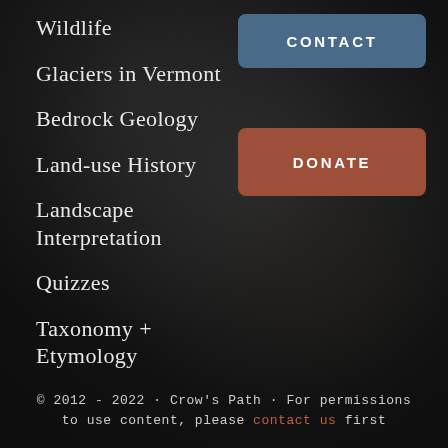Wildlife
Glaciers in Vermont
Bedrock Geology
Land-use History
Landscape Interpretation
Quizzes
Taxonomy + Etymology
CONTACT
DONATE
© 2012 - 2022 · Crow's Path · For permissions to use content, please contact us first